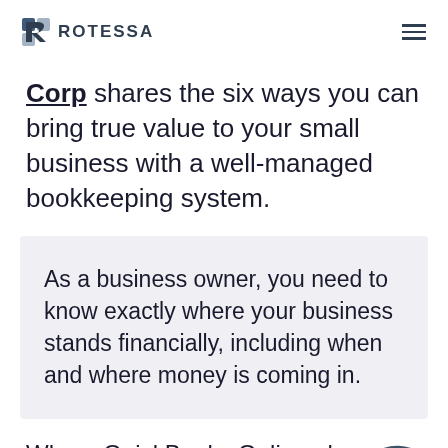ROTESSA
Corp shares the six ways you can bring true value to your small business with a well-managed bookkeeping system.
As a business owner, you need to know exactly where your business stands financially, including when and where money is coming in.
Where QuickBooks Online plays a role in